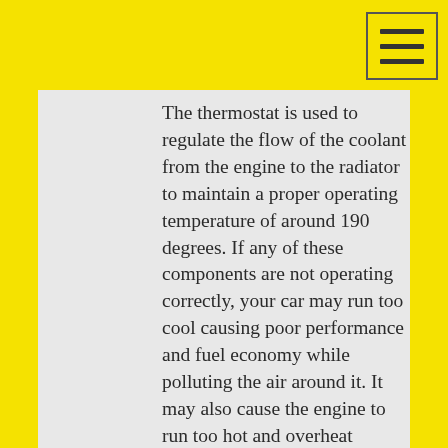The thermostat is used to regulate the flow of the coolant from the engine to the radiator to maintain a proper operating temperature of around 190 degrees. If any of these components are not operating correctly, your car may run too cool causing poor performance and fuel economy while polluting the air around it. It may also cause the engine to run too hot and overheat causing possible severe engine damage. If you have concerns about the proper operation of your cooling system, have it inspected and serviced today at Shipman Tire.
Shipman Tire proudly serves the Cooling System needs of customers in Desoto, TX